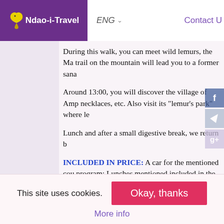Ndao-i-Travel | ENG | Contact U
During this walk, you can meet wild lemurs, the Ma trail on the mountain will lead you to a former sana
Around 13:00, you will discover the village of Amp necklaces, etc. Also visit its "lemur's park" where le
Lunch and after a small digestive break, we return b
INCLUDED IN PRICE: A car for the mentioned cou program; Lunches mentioned included in the prog during the ride.
This site uses cookies. Okay, thanks More info